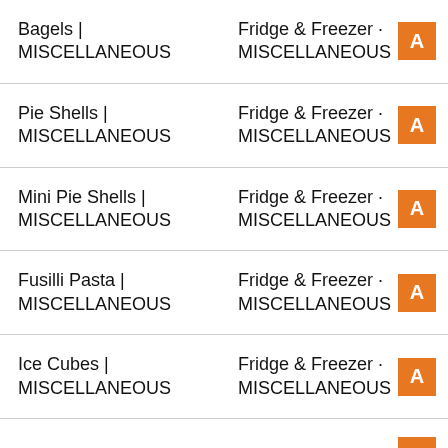Bagels | MISCELLANEOUS | Fridge & Freezer · MISCELLANEOUS
Pie Shells | MISCELLANEOUS | Fridge & Freezer · MISCELLANEOUS
Mini Pie Shells | MISCELLANEOUS | Fridge & Freezer · MISCELLANEOUS
Fusilli Pasta | MISCELLANEOUS | Fridge & Freezer · MISCELLANEOUS
Ice Cubes | MISCELLANEOUS | Fridge & Freezer · MISCELLANEOUS
Artichoke | FROZEN | Fridge & Freezer ·